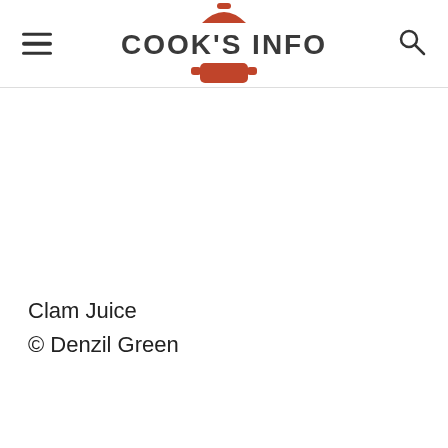COOK'S INFO
Clam Juice
© Denzil Green